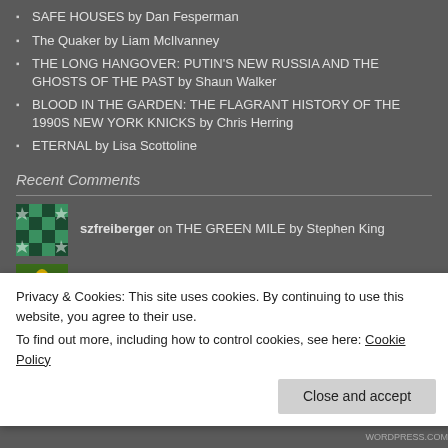SAFE HOUSES by Dan Fesperman
The Quaker by Liam McIlvanney
THE LONG HANGOVER: PUTIN'S NEW RUSSIA AND THE GHOSTS OF THE PAST by Shaun Walker
BLOOD IN THE GARDEN: THE FLAGRANT HISTORY OF THE 1990S NEW YORK KNICKS by Chris Herring
ETERNAL by Lisa Scottoline
Recent Comments
szfreiberger on THE GREEN MILE by Stephen King
Dr. CaSo on THE GREEN MILE by Stephen King
szfreiberger on ALPHA: EDDIE GALLAGHER AND THE...
Privacy & Cookies: This site uses cookies. By continuing to use this website, you agree to their use.
To find out more, including how to control cookies, see here: Cookie Policy